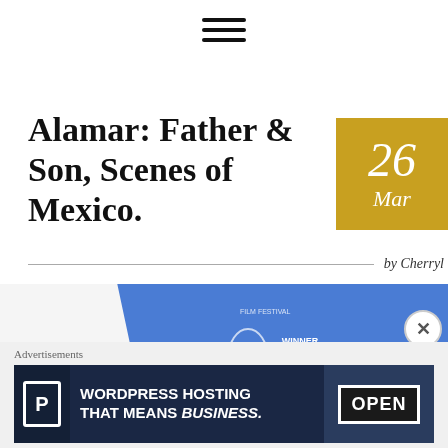[Figure (other): Hamburger menu icon (three horizontal lines)]
Alamar: Father & Son, Scenes of Mexico.
[Figure (other): Date badge: gold/yellow square showing '26' and 'Mar' in white italic text]
by Cherryl
[Figure (photo): Photo of a movie case/box for Alamar showing award laurels including 'WINNER New Directors Award San Francisco Int'l Film Festival' and quote 'I LOVED EVERY FR...' with stars]
Advertisements
[Figure (other): Advertisement banner: dark blue background with parking 'P' icon logo, text 'WORDPRESS HOSTING THAT MEANS BUSINESS.' and a photo of an OPEN sign]